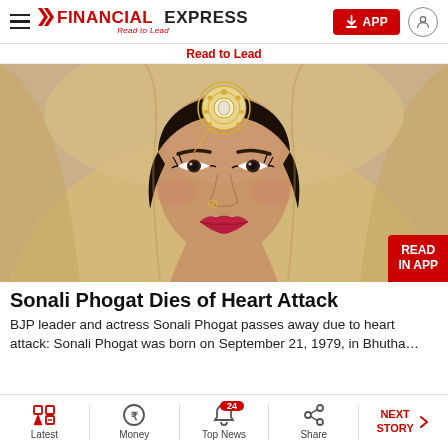FINANCIAL EXPRESS — Read to Lead
Read to Lead
[Figure (photo): Portrait of Sonali Phogat, a woman wearing a golden/cream dupatta (head covering), ornate gold maang tikka jewelry on forehead, nose ring, heavy eye makeup, and red lipstick. She is looking slightly to the side.]
Sonali Phogat Dies of Heart Attack
BJP leader and actress Sonali Phogat passes away due to heart attack: Sonali Phogat was born on September 21, 1979, in Bhutha…
Latest | Money | Top News | Share | NEXT STORY